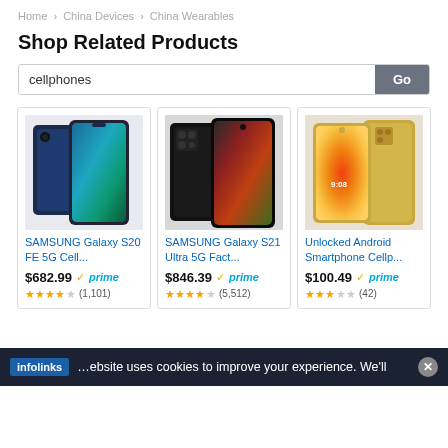Home › China Devices › China Wearables
Shop Related Products
cellphones [search box] Go
[Figure (screenshot): Product card: SAMSUNG Galaxy S20 FE 5G Cell... showing two phones (navy blue), priced at $682.99 with Prime badge and star ratings]
[Figure (screenshot): Product card: SAMSUNG Galaxy S21 Ultra 5G Fact... showing two phones (black), priced at $846.39 with Prime badge and star ratings]
[Figure (screenshot): Product card: Unlocked Android Smartphone Cellp... showing two phones (gold), priced at $100.49 with Prime badge and star ratings]
infolinks — ...ebsite uses cookies to improve your experience. We'll ✕